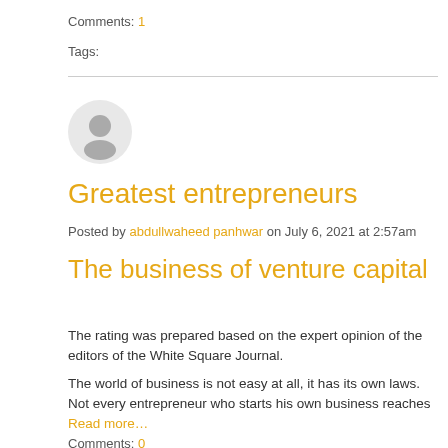Comments: 1
Tags:
Greatest entrepreneurs
Posted by abdullwaheed panhwar on July 6, 2021 at 2:57am
The business of venture capital
The rating was prepared based on the expert opinion of the editors of the White Square Journal.
The world of business is not easy at all, it has its own laws. Not every entrepreneur who starts his own business reaches
Read more…
Comments: 0
Tags: